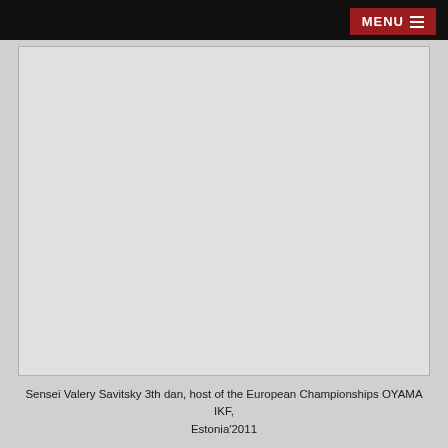MENU
[Figure (photo): Placeholder image area — photo of Sensei Valery Savitsky not loaded, shown as light gray rectangle with border]
Sensei Valery Savitsky 3th dan, host of the European Championships OYAMA IKF, Estonia'2011